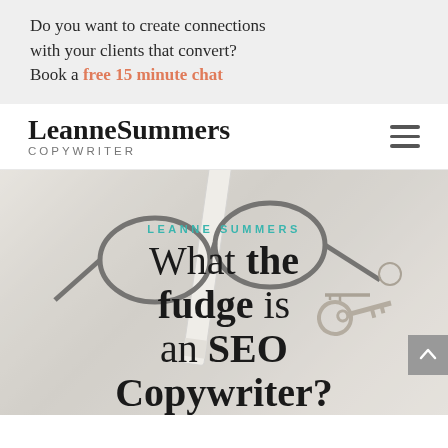Do you want to create connections with your clients that convert? Book a free 15 minute chat
[Figure (logo): Leanne Summers Copywriter logo with hamburger menu icon]
[Figure (photo): Background photo of glasses, pencil/pen, and a vintage key on a white wooden surface]
What the fudge is an SEO Copywriter?